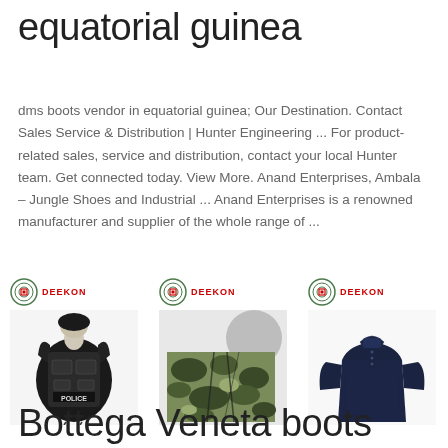equatorial guinea
dms boots vendor in equatorial guinea; Our Destination. Contact Sales Service & Distribution | Hunter Engineering ... For product-related sales, service and distribution, contact your local Hunter team. Get connected today. View More. Anand Enterprises, Ambala – Jungle Shoes and Industrial ... Anand Enterprises is a renowned manufacturer and supplier of the whole range of ...
[Figure (photo): Three product images with DEEKON branding: a black police tactical vest, camouflage fabric material, and a dark navy long-sleeve polo shirt.]
Bottega Veneta boots